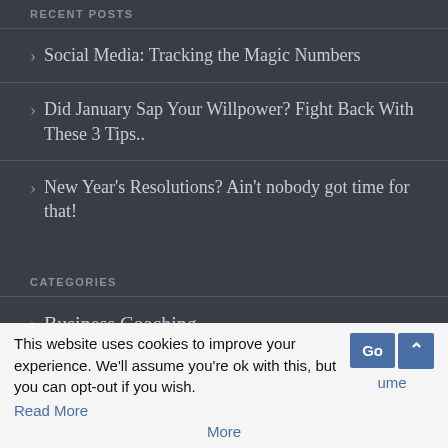RECENT POSTS
Social Media: Tracking the Magic Numbers
Did January Sap Your Willpower? Fight Back With These 3 Tips..
New Year's Resolutions? Ain't nobody got time for that!
CATEGORIES
Business Coaching
Goal Setting
This website uses cookies to improve your experience. We'll assume you're ok with this, but you can opt-out if you wish. Got it! Read More